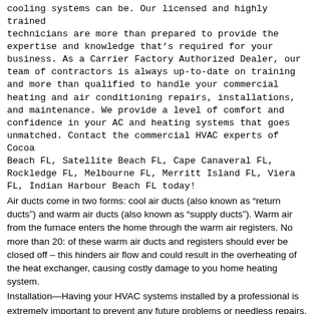cooling systems can be. Our licensed and highly trained technicians are more than prepared to provide the expertise and knowledge that's required for your business. As a Carrier Factory Authorized Dealer, our team of contractors is always up-to-date on training and more than qualified to handle your commercial heating and air conditioning repairs, installations, and maintenance. We provide a level of comfort and confidence in your AC and heating systems that goes unmatched. Contact the commercial HVAC experts of Cocoa Beach FL, Satellite Beach FL, Cape Canaveral FL, Rockledge FL, Melbourne FL, Merritt Island FL, Viera FL, Indian Harbour Beach FL today!
Air ducts come in two forms: cool air ducts (also known as “return ducts”) and warm air ducts (also known as “supply ducts”). Warm air from the furnace enters the home through the warm air registers. No more than 20: of these warm air ducts and registers should ever be closed off – this hinders air flow and could result in the overheating of the heat exchanger, causing costly damage to you home heating system.
Installation—Having your HVAC systems installed by a professional is extremely important to prevent any future problems or needless repairs. Our professionals at Service Experts Heating & Air Conditioning can also help you choose what size equipment is appropriate for your house. Selecting a system that is too large or small can impact efficiency and